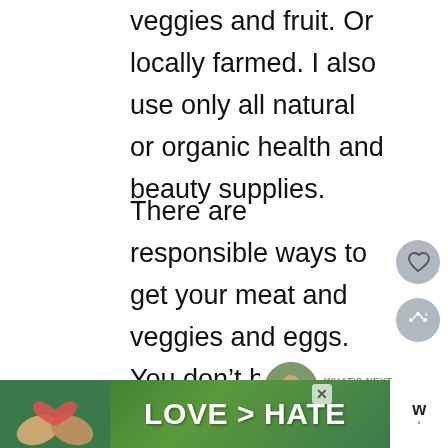veggies and fruit. Or locally farmed. I also use only all natural or organic health and beauty supplies.
There are responsible ways to get your meat and veggies and eggs. You don't have to support 'the agri-business machine'. I think being vegetarian is a personal choice just like anything else. There are lots of things I don't 'need', but I certainly wouldn't want to live without them.
As far as the higher costs of organic, all
[Figure (other): Advertisement banner showing hands forming a heart shape with green background and text 'LOVE > HATE']